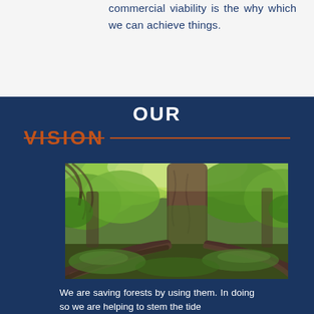commercial viability is the why which we can achieve things.
OUR VISION
[Figure (photo): Close-up photograph of a large ancient tree with moss-covered roots spreading across the forest floor, surrounded by lush green foliage and forest undergrowth.]
We are saving forests by using them. In doing so we are helping to stem the tide